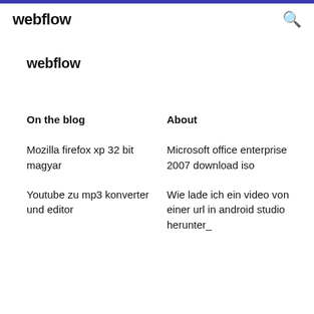webflow
webflow
On the blog
About
Mozilla firefox xp 32 bit magyar
Youtube zu mp3 konverter und editor
Microsoft office enterprise 2007 download iso
Wie lade ich ein video von einer url in android studio herunter_